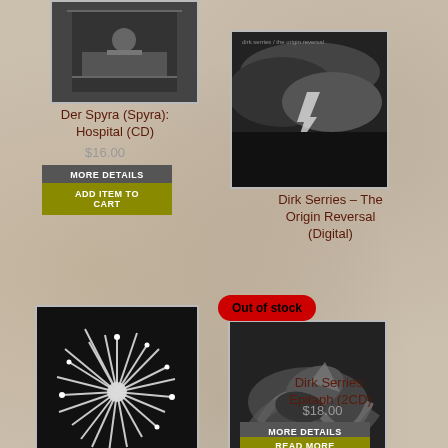[Figure (photo): Album cover for Der Spyra (Spyra): Hospital (CD) — black and white photo of person in hospital bed]
Der Spyra (Spyra): Hospital (CD)
$16.00
MORE DETAILS
ADD ITEM TO CART
[Figure (photo): Album cover for Dirk Serries – The Origin Reversal (Digital) — dark clouds and lightning]
Dirk Serries – The Origin Reversal (Digital)
Out of stock
[Figure (photo): Album cover for Dirk Serries: Epitaph (2CD) — black and white macro of curled paper/leaf]
Dirk Serries: Epitaph (2CD)
$18.00
MORE DETAILS
READ MORE
[Figure (photo): Album cover for Dirk Serries: Disorientation Flow (Digital) — black and white macro of spiky flower/plant]
Dirk Serries: Disorientation Flow (Digital)